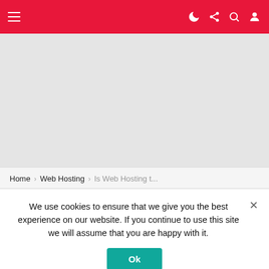Navigation bar with hamburger menu, dark mode, share, search, and user account icons
[Figure (other): Gray placeholder/advertisement area below navigation bar]
Home › Web Hosting › Is Web Hosting t...
We use cookies to ensure that we give you the best experience on our website. If you continue to use this site we will assume that you are happy with it.
Ok